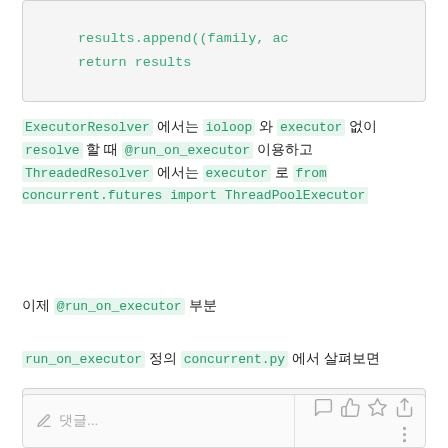[Figure (screenshot): Code block showing: results.append((family, ac and return results]
ExecutorResolver 에서는 ioloop 와 executor 없이 resolve 할 때 @run_on_executor 이용하고 ThreadedResolver 에서는 executor 로 from concurrent.futures import ThreadPoolExecutor
이제 @run_on_executor 부분
run_on_executor 정의 concurrent.py 에서 살펴보면
[Figure (screenshot): Code block showing: def run_on_executor(fn):]